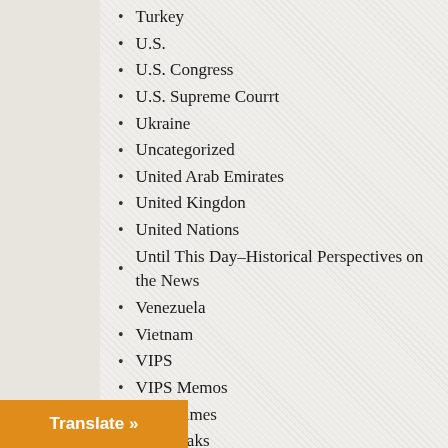Turkey
U.S.
U.S. Congress
U.S. Supreme Courrt
Ukraine
Uncategorized
United Arab Emirates
United Kingdon
United Nations
Until This Day–Historical Perspectives on the News
Venezuela
Vietnam
VIPS
VIPS Memos
War Crimes
WikiLeaks
WikiLeaks Series
Winter Fund Drive
WMD